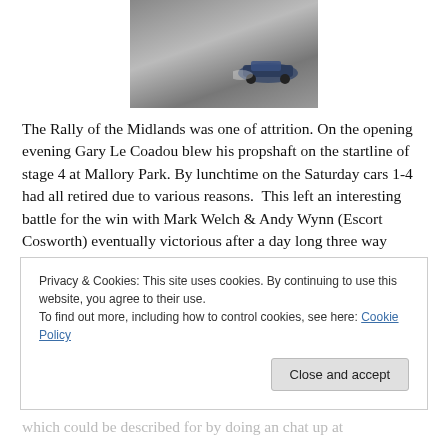[Figure (photo): A rally car driving on a wet road, splashing water, viewed from behind/side]
The Rally of the Midlands was one of attrition. On the opening evening Gary Le Coadou blew his propshaft on the startline of stage 4 at Mallory Park. By lunchtime on the Saturday cars 1-4 had all retired due to various reasons.  This left an interesting battle for the win with Mark Welch & Andy Wynn (Escort Cosworth) eventually victorious after a day long three way battle. Second place went to the Opel Astra kit car of Chris Wood & Stephen
Privacy & Cookies: This site uses cookies. By continuing to use this website, you agree to their use.
To find out more, including how to control cookies, see here: Cookie Policy
which could be described for by doing an chat up at